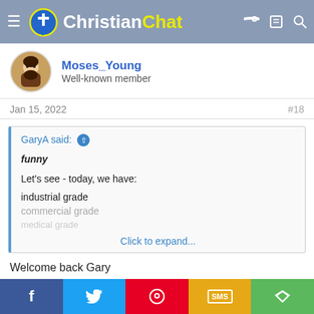Christian Chat
Moses_Young
Well-known member
Jan 15, 2022
#18
GaryA said: ↑
funny
Let's see - today, we have:
industrial grade
commercial grade
medical grade
Click to expand...
Welcome back Gary